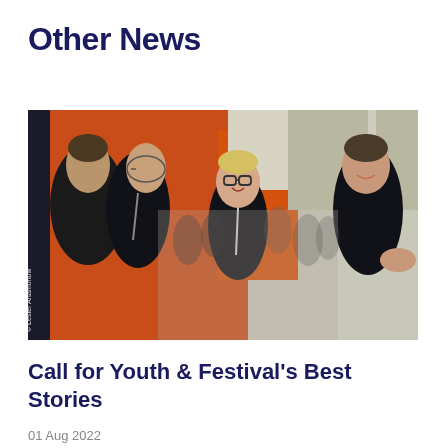Other News
[Figure (photo): Three young people wearing black t-shirts and lanyards talking and smiling outdoors near orange/red structures, with blurred crowd in background. Photo credit: Lester Artamonow.]
Call for Youth & Festival's Best Stories
01 Aug 2022